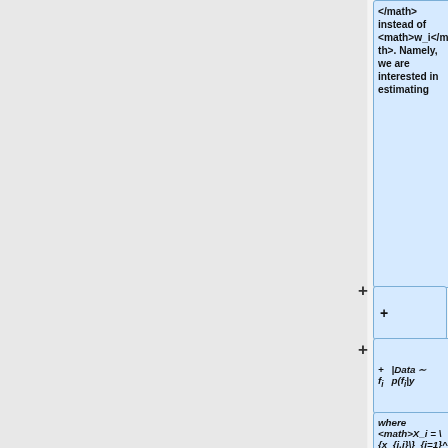</math> instead of <math>w_i</math>. Namely, we are interested in estimating
+
where <math>X_i = \{x_{i,j}\}_{j=1}^{N_i}</math> are input vectors and <math>\boldsymbol{y}_i = \{y_{i,j}\}_{j=1}^{N_i}</math> are output targets so that each